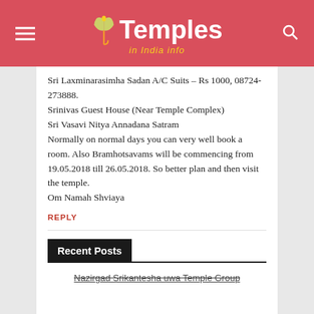Temples in India info
Sri Laxminarasimha Sadan A/C Suits – Rs 1000, 08724-273888.
Srinivas Guest House (Near Temple Complex)
Sri Vasavi Nitya Annadana Satram
Normally on normal days you can very well book a room. Also Bramhotsavams will be commencing from 19.05.2018 till 26.05.2018. So better plan and then visit the temple.
Om Namah Shviaya
REPLY
Recent Posts
Nazirgad Srikantesha uwa Temple Group...